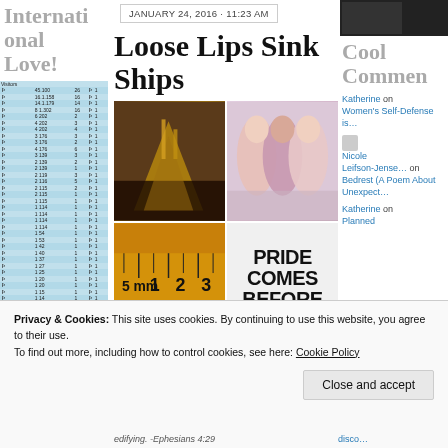International Love!
[Figure (table-as-image): Visitors table with flags and country statistics on light blue background]
JANUARY 24, 2016 · 11:23 AM
[Figure (photo): Dark photo, top right corner]
Loose Lips Sink Ships
[Figure (photo): 4-panel image collage: Titanic sinking, girls group photo, ruler close-up, text saying PRIDE COMES BEFORE]
Cool Commen
Katherine on
Women's Self-Defense is…
Nicole Leifson-Jense… on
Bedrest (A Poem About Unexpect…
Katherine on
Planned
Privacy & Cookies: This site uses cookies. By continuing to use this website, you agree to their use.
To find out more, including how to control cookies, see here: Cookie Policy
Close and accept
edifying.   -Ephesians 4:29
disco…